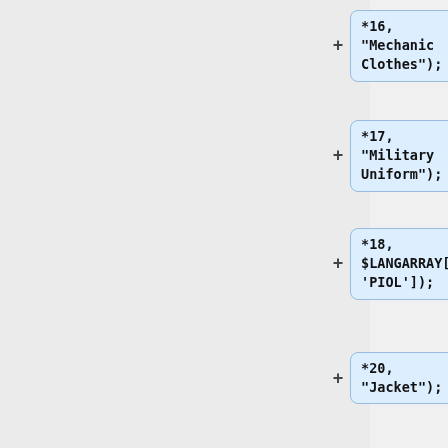*16, "Mechanic Clothes");
*17, "Military Uniform");
*18, $LANGARRAY['PIOL']);
*20, "Jacket");
*21, "Winter Jacket");
*23, "Other");
==db_tags==
Character tags are stored here. Assignments